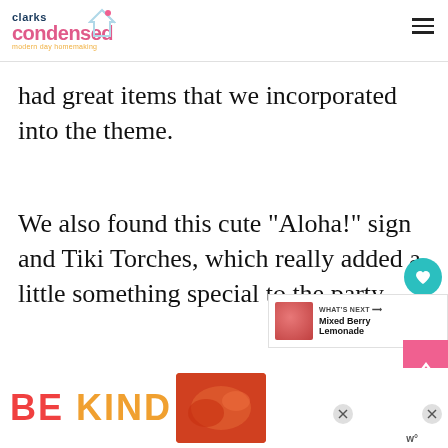clarks condensed — modern day homemaking
had great items that we incorporated into the theme.
We also found this cute “Aloha!” sign and Tiki Torches, which really added a little something special to the party.
[Figure (other): What's Next panel with Mixed Berry Lemonade thumbnail]
[Figure (other): BE KIND advertisement banner with decorative floral imagery]